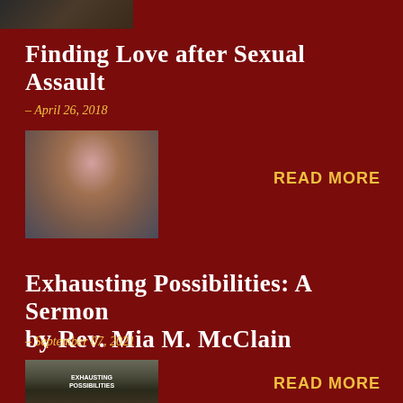[Figure (photo): Partial image of a graphic/banner at top of page]
Finding Love after Sexual Assault
– April 26, 2018
[Figure (photo): Photo of a person holding something, appears to be a woman with a cap]
READ MORE
Exhausting Possibilities: A Sermon by Rev. Mia M. McClain
– September 07, 2021
[Figure (photo): Book or poster cover showing 'Exhausting Possibilities' text over a background of coins or stones]
READ MORE